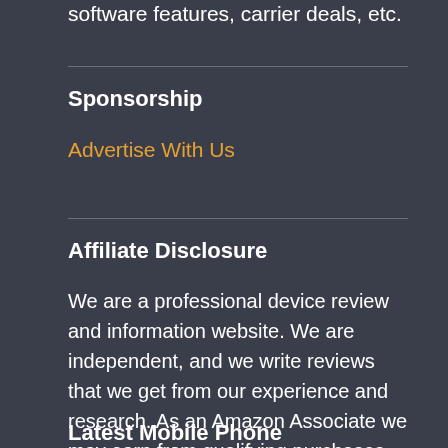software features, carrier deals, etc.
Sponsorship
Advertise With Us
Affiliate Disclosure
We are a professional device review and information website. We are independent, and we write reviews that we get from our experience and research. As an Amazon Associate we may earn from qualifying purchases.
Latest Mobile Phone